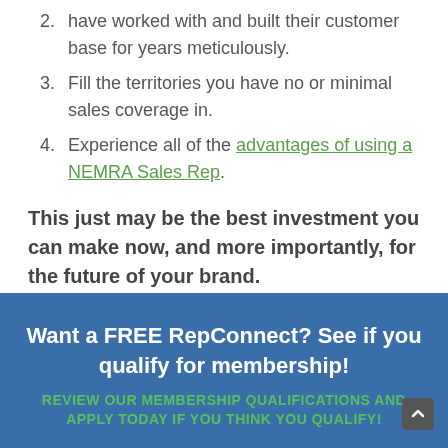have worked with and built their customer base for years meticulously.
3. Fill the territories you have no or minimal sales coverage in.
4. Experience all of the advantages of using a NEMRA Sales Rep.
This just may be the best investment you can make now, and more importantly, for the future of your brand.
Want a FREE RepConnect? See if you qualify for membership!
REVIEW OUR MEMBERSHIP QUALIFICATIONS AND APPLY TODAY IF YOU THINK YOU QUALIFY!